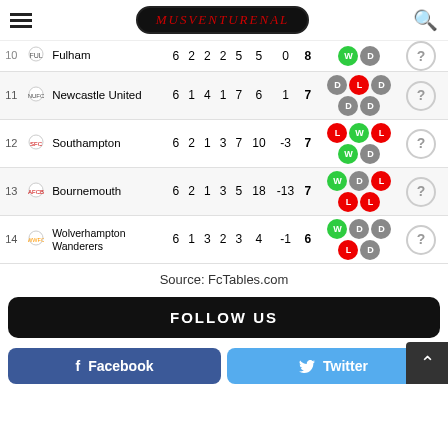MUSVENTURENAL (logo/header)
| # | Team | P | W | D | L | GF | GA | GD | Pts | Form |  |
| --- | --- | --- | --- | --- | --- | --- | --- | --- | --- | --- | --- |
| 10 | Fulham | 6 | 2 | 2 | 2 | 5 | 5 | 0 | 8 | W D | ? |
| 11 | Newcastle United | 6 | 1 | 4 | 1 | 7 | 6 | 1 | 7 | D L D / D D | ? |
| 12 | Southampton | 6 | 2 | 1 | 3 | 7 | 10 | -3 | 7 | L W L / W D | ? |
| 13 | Bournemouth | 6 | 2 | 1 | 3 | 5 | 18 | -13 | 7 | W D L / L L | ? |
| 14 | Wolverhampton Wanderers | 6 | 1 | 3 | 2 | 3 | 4 | -1 | 6 | W D D / L D | ? |
Source: FcTables.com
FOLLOW US
Facebook
Twitter